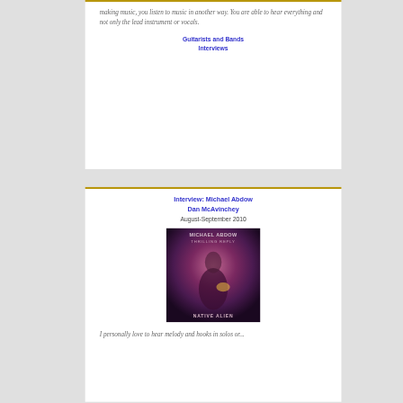making music, you listen to music in another way. You are able to hear everything and not only the lead instrument or vocals.
Guitarists and Bands Interviews
Interview: Michael Abdow Dan McAvinchey
August-September 2010
[Figure (photo): Album cover image showing a guitarist performing, with text 'MICHAEL ABDOW' at top and 'NATIVE ALIEN' at bottom, dark purple/magenta tones]
I personally love to hear melody and hooks in solos or...